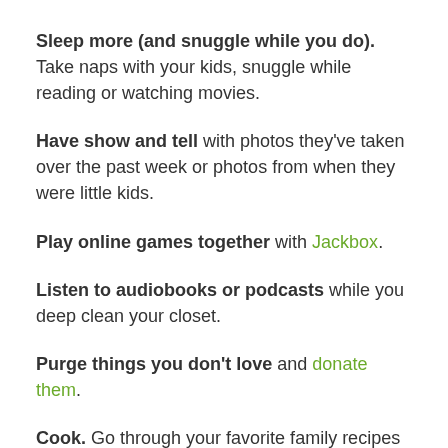Sleep more (and snuggle while you do). Take naps with your kids, snuggle while reading or watching movies.
Have show and tell with photos they've taken over the past week or photos from when they were little kids.
Play online games together with Jackbox.
Listen to audiobooks or podcasts while you deep clean your closet.
Purge things you don't love and donate them.
Cook. Go through your favorite family recipes and